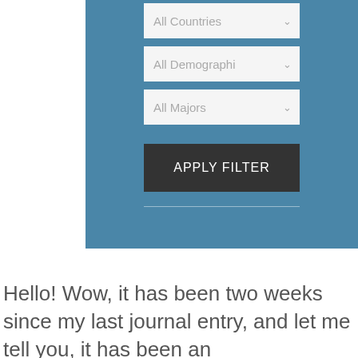[Figure (screenshot): Blue filter panel with three dropdown menus labeled 'All Countries', 'All Demographi', and 'All Majors', an 'APPLY FILTER' button, and a horizontal divider line.]
Hello! Wow, it has been two weeks since my last journal entry, and let me tell you, it has been an